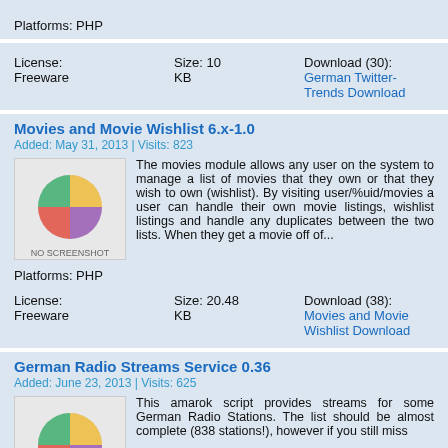Platforms: PHP
License: Freeware    Size: 10 KB    Download (30): German Twitter-Trends Download
Movies and Movie Wishlist 6.x-1.0
Added: May 31, 2013 | Visits: 823
[Figure (illustration): No screenshot placeholder image with colorful pie-chart-like graphic]
The movies module allows any user on the system to manage a list of movies that they own or that they wish to own (wishlist). By visiting user/%uid/movies a user can handle their own movie listings, wishlist listings and handle any duplicates between the two lists. When they get a movie off of...
Platforms: PHP
License: Freeware    Size: 20.48 KB    Download (38): Movies and Movie Wishlist Download
German Radio Streams Service 0.36
Added: June 23, 2013 | Visits: 625
[Figure (illustration): No screenshot placeholder image with colorful pie-chart-like graphic]
This amarok script provides streams for some German Radio Stations. The list should be almost complete (838 stations!), however if you still miss a station feel free to ask...